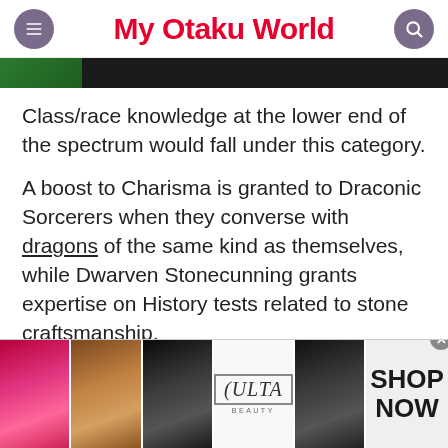My Otaku World
[Figure (photo): Partial image strip showing greenery and dark background, cropped at top]
Class/race knowledge at the lower end of the spectrum would fall under this category.
A boost to Charisma is granted to Draconic Sorcerers when they converse with dragons of the same kind as themselves, while Dwarven Stonecunning grants expertise on History tests related to stone craftsmanship.
These are more of a convenience when you need them than something you should
[Figure (photo): Advertisement banner at bottom showing makeup/beauty images including lips, makeup brush, eye, Ulta Beauty logo, and eye with eyeliner, plus SHOP NOW text]